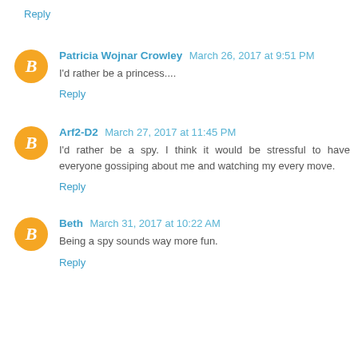Reply
Patricia Wojnar Crowley  March 26, 2017 at 9:51 PM
I'd rather be a princess....
Reply
Arf2-D2  March 27, 2017 at 11:45 PM
I'd rather be a spy. I think it would be stressful to have everyone gossiping about me and watching my every move.
Reply
Beth  March 31, 2017 at 10:22 AM
Being a spy sounds way more fun.
Reply